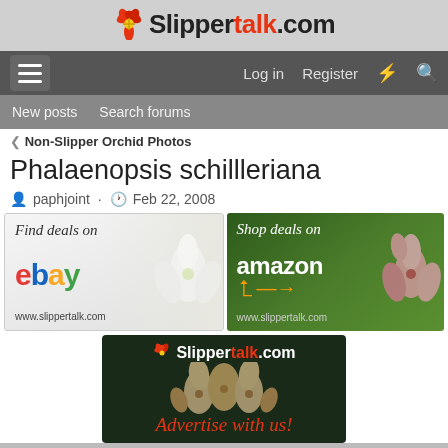Slippertalk.com
[Figure (screenshot): Website navigation bar with hamburger menu, Log in, Register, lightning bolt and search icons on dark grey background]
[Figure (screenshot): Sub-navigation bar with New posts and Search forums links]
< Non-Slipper Orchid Photos
Phalaenopsis schillleriana
paphjoint · Feb 22, 2008
[Figure (advertisement): Find deals on eBay advertisement with eBay logo and white orchid photo, www.slippertalk.com]
[Figure (advertisement): Shop deals on amazon advertisement with Amazon logo and pink orchids on green background, www.slippertalk.com]
[Figure (advertisement): Slippertalk.com Advertise with us! advertisement on dark background with orchid flowers]